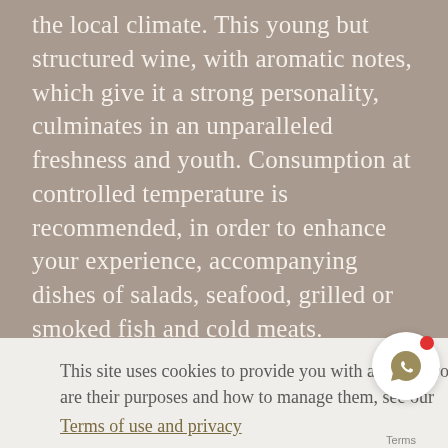the local climate. This young but structured wine, with aromatic notes, which give it a strong personality, culminates in an unparalleled freshness and youth. Consumption at controlled temperature is recommended, in order to enhance your experience, accompanying dishes of salads, seafood, grilled or smoked fish and cold meats.
This site uses cookies to provide you with a better browsing experience. To learn more about cookies, what are their purposes and how to manage them, see our
Terms of use and privacy
I accept!